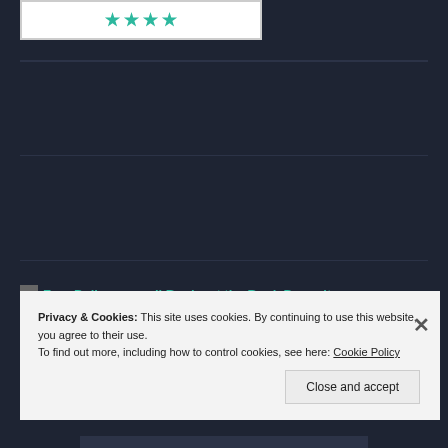[Figure (illustration): White box with teal star rating icons (4 stars) on dark background]
Free Delivery on all Books at the Book Depository
Privacy & Cookies: This site uses cookies. By continuing to use this website, you agree to their use.
To find out more, including how to control cookies, see here: Cookie Policy
Close and accept